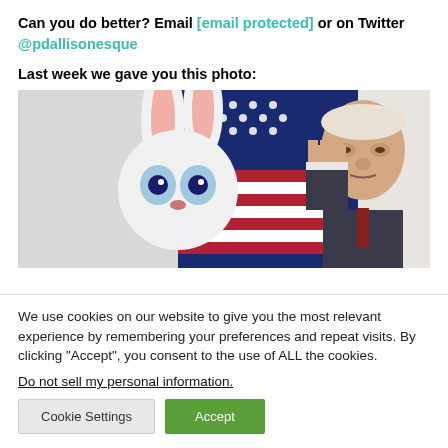Can you do better? Email [email protected] or on Twitter @pdallisonesque
Last week we gave you this photo:
[Figure (photo): A person in a Easter bunny costume stands next to an older man saluting, with an American flag in the background.]
We use cookies on our website to give you the most relevant experience by remembering your preferences and repeat visits. By clicking “Accept”, you consent to the use of ALL the cookies.
Do not sell my personal information.
Cookie Settings | Accept